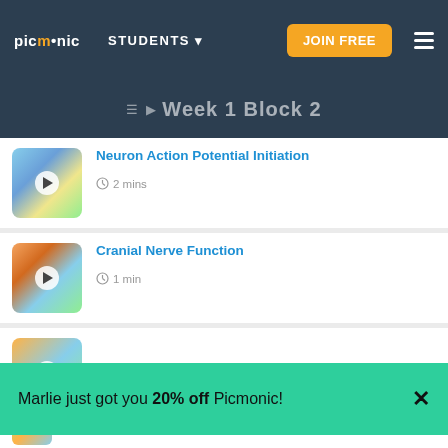picmonic STUDENTS ▾ JOIN FREE ☰
Week 1 Block 2
Neuron Action Potential Initiation
⏱ 2 mins
Cranial Nerve Function
⏱ 1 min
Autonomic Nervous System
Marlie just got you 20% off Picmonic!
Chemical Synapse
I accept the Cookie Policy. OK
Lambert-Eaton Syndrome